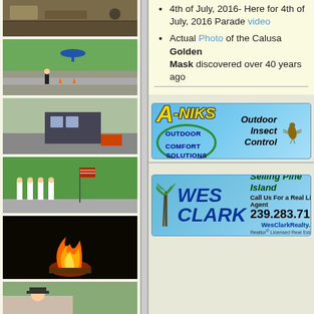[Figure (photo): Outdoor scene with debris/logs]
[Figure (photo): Helicopter flying over road with person standing on roadside]
[Figure (photo): Large structure being transported on road with vehicles]
[Figure (photo): Group of people in uniforms marching with American flag]
[Figure (photo): Fire/bonfire at night]
[Figure (photo): Person in outdoor setting, partially visible]
4th of July, 2016- Here for 4th of July, 2016 Parade video
Actual Photo of the Calusa Golden Mask discovered over 40 years ago
[Figure (other): A-NIKS Outdoor Comfort Solutions advertisement banner - Outdoor Insect Control]
[Figure (other): Wes Clark Realty advertisement - Selling Pine Island, Call Us For a Real Live Agent, 239.283.7117, WesClarkRealty.com, Realtor Licensed Real Estate Broker Member MLS]